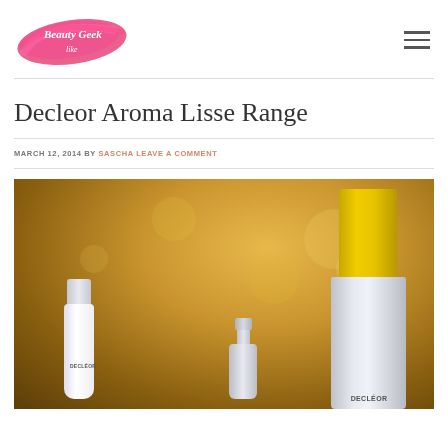[Figure (logo): Beauty Geek blog logo - pink paint brush stroke with cursive white text]
Decleor Aroma Lisse Range
MARCH 12, 2014 BY SASCHA LEAVE A COMMENT
[Figure (photo): Photo of multiple Decleor skincare products on a golden bokeh background. Products include a small white squeeze tube labeled DECLEOR, a small silver bottle, and a tall silver bottle with a bright yellow cap, all branded DECLEOR.]